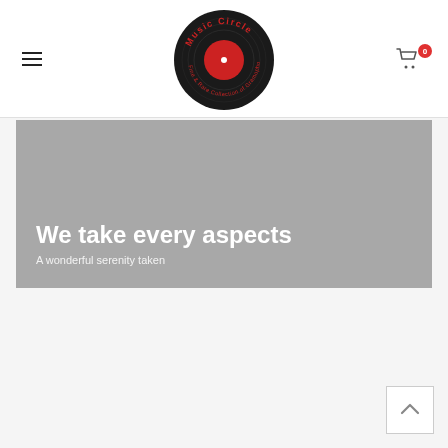[Figure (logo): Music Circle logo: black vinyl record with red label center, red circular text reading 'Music Circle' at top and 'Fine & Rare Collection of Gramophone Records' around the bottom]
We take every aspects
A wonderful serenity taken